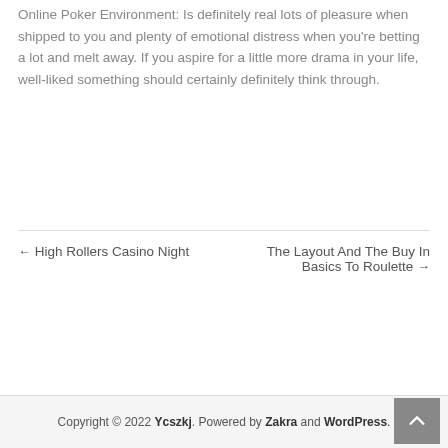Online Poker Environment: Is definitely real lots of pleasure when shipped to you and plenty of emotional distress when you're betting a lot and melt away. If you aspire for a little more drama in your life, well-liked something should certainly definitely think through.
← High Rollers Casino Night
The Layout And The Buy In Basics To Roulette →
Copyright © 2022 Ycszkj. Powered by Zakra and WordPress.